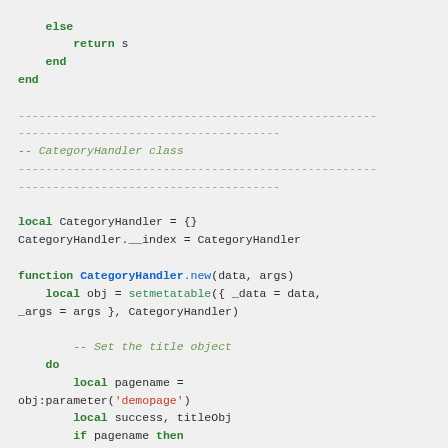Lua source code snippet showing CategoryHandler class definition with else/end block, separator comments, local table declaration, __index assignment, and CategoryHandler.new function with setmetatable call and pagename/titleObj local variables